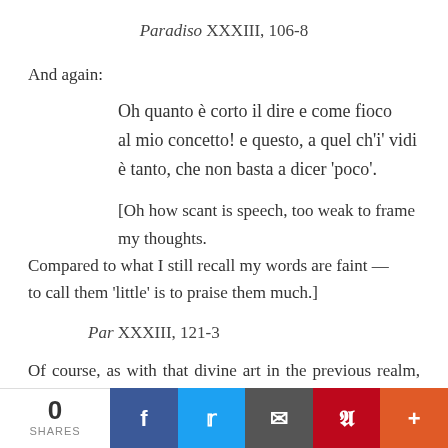Paradiso XXXIII, 106-8
And again:
Oh quanto è corto il dire e come fioco
al mio concetto! e questo, a quel ch'i' vidi
è tanto, che non basta a dicer 'poco'.
[Oh how scant is speech, too weak to frame my thoughts.
Compared to what I still recall my words are faint —
to call them 'little' is to praise them much.]
Par XXXIII, 121-3
Of course, as with that divine art in the previous realm, this
0 SHARES | Facebook | Twitter | Email | Pinterest | More